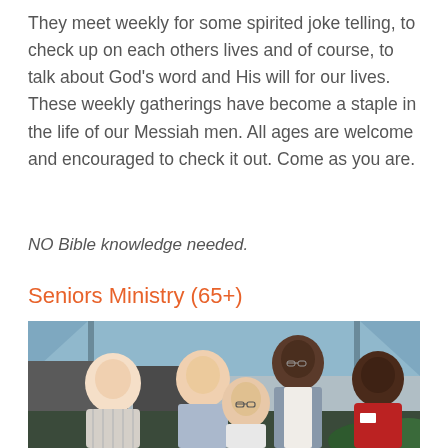They meet weekly for some spirited joke telling, to check up on each others lives and of course, to talk about God's word and His will for our lives. These weekly gatherings have become a staple in the life of our Messiah men. All ages are welcome and encouraged to check it out. Come as you are.
NO Bible knowledge needed.
Seniors Ministry (65+)
[Figure (photo): Group of five senior adults smiling outdoors under a blue canopy tent. From left: older white man in striped polo, older white man leaning in, older white woman with glasses seated in front, tall Black man in apron standing in back, older Black woman in red cardigan on right.]